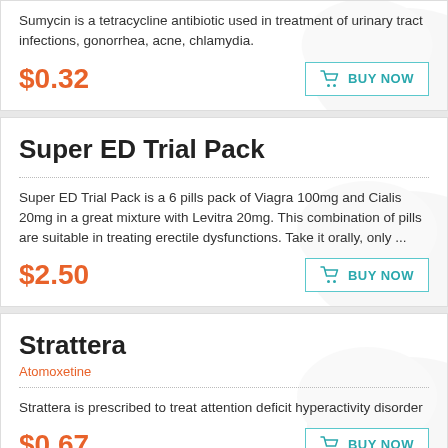Sumycin is a tetracycline antibiotic used in treatment of urinary tract infections, gonorrhea, acne, chlamydia.
$0.32
Super ED Trial Pack
Super ED Trial Pack is a 6 pills pack of Viagra 100mg and Cialis 20mg in a great mixture with Levitra 20mg. This combination of pills are suitable in treating erectile dysfunctions. Take it orally, only ...
$2.50
Strattera
Atomoxetine
Strattera is prescribed to treat attention deficit hyperactivity disorder
$0.67